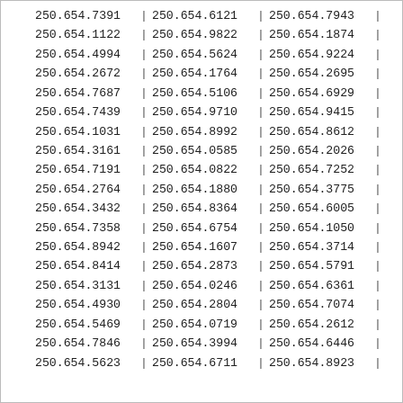| Col1 | Col2 | Col3 |
| --- | --- | --- |
| 250.654.7391 | 250.654.6121 | 250.654.7943 |
| 250.654.1122 | 250.654.9822 | 250.654.1874 |
| 250.654.4994 | 250.654.5624 | 250.654.9224 |
| 250.654.2672 | 250.654.1764 | 250.654.2695 |
| 250.654.7687 | 250.654.5106 | 250.654.6929 |
| 250.654.7439 | 250.654.9710 | 250.654.9415 |
| 250.654.1031 | 250.654.8992 | 250.654.8612 |
| 250.654.3161 | 250.654.0585 | 250.654.2026 |
| 250.654.7191 | 250.654.0822 | 250.654.7252 |
| 250.654.2764 | 250.654.1880 | 250.654.3775 |
| 250.654.3432 | 250.654.8364 | 250.654.6005 |
| 250.654.7358 | 250.654.6754 | 250.654.1050 |
| 250.654.8942 | 250.654.1607 | 250.654.3714 |
| 250.654.8414 | 250.654.2873 | 250.654.5791 |
| 250.654.3131 | 250.654.0246 | 250.654.6361 |
| 250.654.4930 | 250.654.2804 | 250.654.7074 |
| 250.654.5469 | 250.654.0719 | 250.654.2612 |
| 250.654.7846 | 250.654.3994 | 250.654.6446 |
| 250.654.5623 | 250.654.6711 | 250.654.8923 |